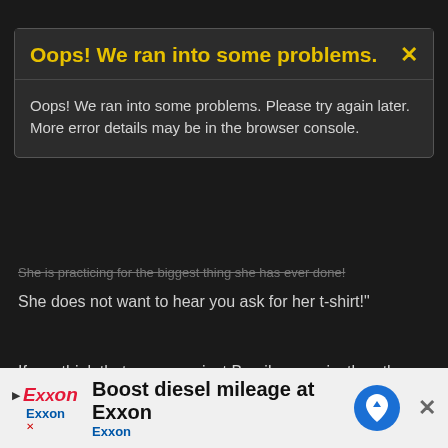[Figure (screenshot): Error modal dialog with yellow header text 'Oops! We ran into some problems.' and close X button, on dark background]
Oops! We ran into some problems. Please try again later. More error details may be in the browser console.
She does not want to hear you ask for her t-shirt!"
If you think that game against Brazil was epic, the other day, you'd be right!
Maybe someday I'll tell you about parking next to Jeremy
This site uses cookies to help personalise content, tailor your experience and to keep you logged in if you register.
By continuing to use this site, you are consenting to our use of cookies.
✓ Accept
Learn more...
avkid
[Figure (screenshot): Exxon advertisement banner: 'Boost diesel mileage at Exxon' with Exxon logo and blue map pin icon]